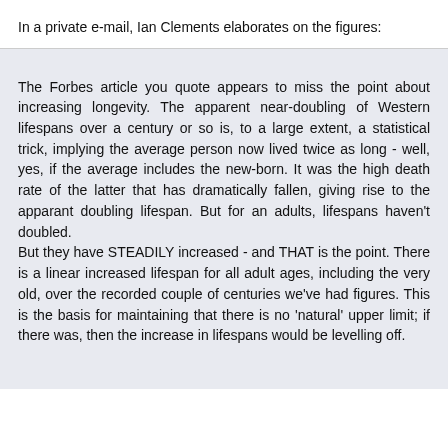In a private e-mail, Ian Clements elaborates on the figures:
The Forbes article you quote appears to miss the point about increasing longevity. The apparent near-doubling of Western lifespans over a century or so is, to a large extent, a statistical trick, implying the average person now lived twice as long - well, yes, if the average includes the new-born. It was the high death rate of the latter that has dramatically fallen, giving rise to the apparant doubling lifespan. But for an adults, lifespans haven't doubled.
But they have STEADILY increased - and THAT is the point. There is a linear increased lifespan for all adult ages, including the very old, over the recorded couple of centuries we've had figures. This is the basis for maintaining that there is no 'natural' upper limit; if there was, then the increase in lifespans would be levelling off.